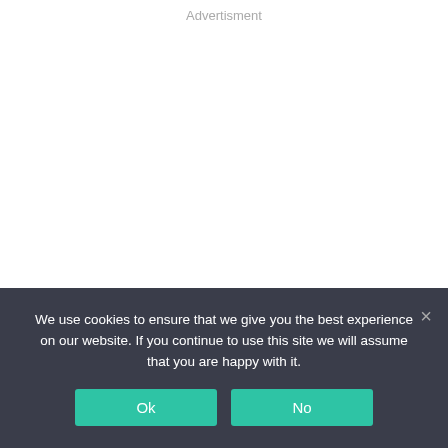Advertisment
We use cookies to ensure that we give you the best experience on our website. If you continue to use this site we will assume that you are happy with it.
Ok
No
×